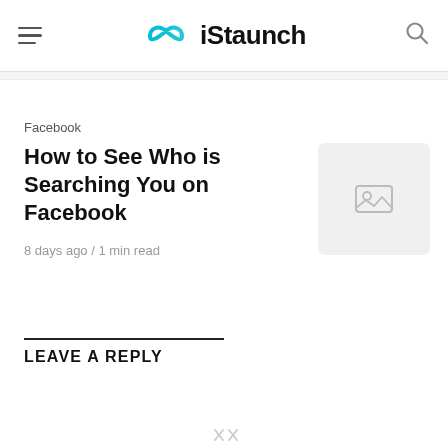iStaunch
Facebook
How to See Who is Searching You on Facebook
8 days ago / 1 min read
[Figure (illustration): Placeholder thumbnail image with a landscape icon]
LEAVE A REPLY